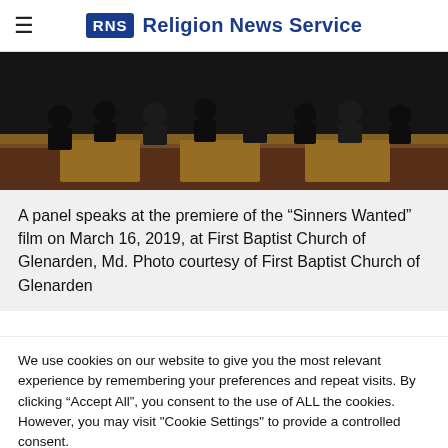RNS Religion News Service
[Figure (photo): People seated on a stage at a panel event inside a church auditorium, with a wooden railing in the foreground. Dark/dim lighting.]
A panel speaks at the premiere of the “Sinners Wanted” film on March 16, 2019, at First Baptist Church of Glenarden, Md. Photo courtesy of First Baptist Church of Glenarden
We use cookies on our website to give you the most relevant experience by remembering your preferences and repeat visits. By clicking “Accept All”, you consent to the use of ALL the cookies. However, you may visit "Cookie Settings" to provide a controlled consent.